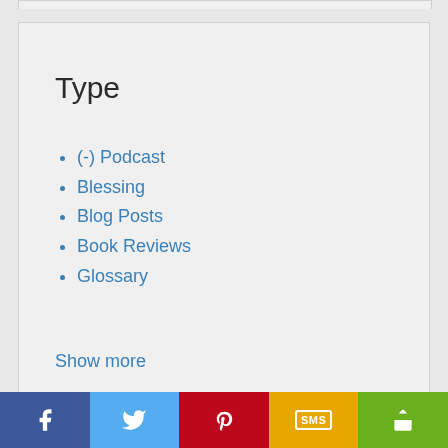Type
(-) Podcast
Blessing
Blog Posts
Book Reviews
Glossary
Show more
Posted In